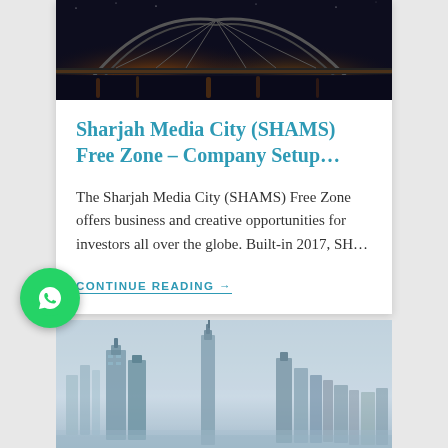[Figure (photo): Aerial night view of a bridge with orange and white lights]
Sharjah Media City (SHAMS) Free Zone – Company Setup…
The Sharjah Media City (SHAMS) Free Zone offers business and creative opportunities for investors all over the globe. Built-in 2017, SH…
CONTINUE READING →
[Figure (photo): Daytime skyline of a modern city with tall skyscrapers against a hazy sky]
[Figure (logo): WhatsApp green circle button with phone handset icon]